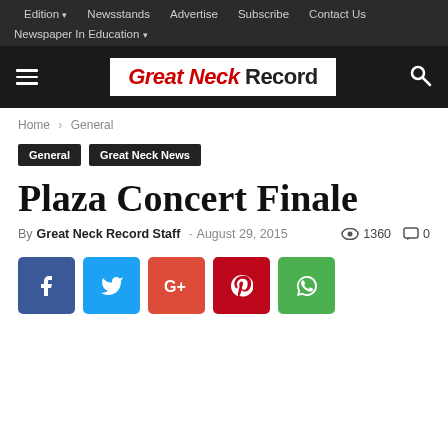Edition ▾   Newsstands   Advertise   Subscribe   Contact Us   Newspaper In Education ▾
[Figure (logo): Great Neck Record newspaper logo — 'Great Neck' in red italic, 'Record' in black bold, on white background; hamburger menu icon left, search icon right, all on dark bar]
Home › General
General   Great Neck News
Plaza Concert Finale
By Great Neck Record Staff – August 29, 2015   👁 1360   💬 0
[Figure (infographic): Social sharing buttons row: Facebook (blue), Twitter (light blue), Google+ (red-orange), Pinterest (dark red), WhatsApp (green)]